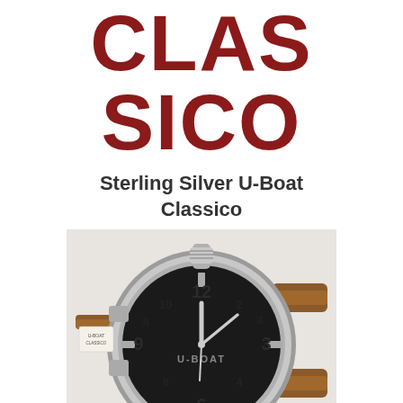CLASSICO
Sterling Silver U-Boat Classico
[Figure (photo): Photo of a U-Boat Classico watch with large round case in silver/chrome, black dial with large Arabic numerals and baton hour markers, crown at top, brown leather strap, and U-BOAT text on the dial. A price tag is visible on the left side.]